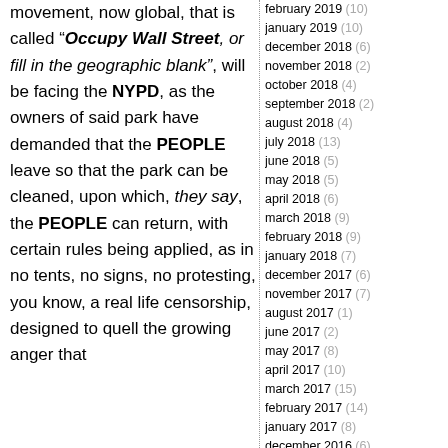movement, now global, that is called "Occupy Wall Street, or fill in the geographic blank", will be facing the NYPD, as the owners of said park have demanded that the PEOPLE leave so that the park can be cleaned, upon which, they say, the PEOPLE can return, with certain rules being applied, as in no tents, no signs, no protesting, you know, a real life censorship, designed to quell the growing anger that
february 2019 (10)
january 2019 (10)
december 2018 (6)
november 2018 (2)
october 2018 (4)
september 2018 (2)
august 2018 (4)
july 2018 (13)
june 2018 (5)
may 2018 (5)
april 2018 (6)
march 2018 (9)
february 2018 (9)
january 2018 (7)
december 2017 (6)
november 2017 (7)
august 2017 (1)
june 2017 (2)
may 2017 (8)
april 2017 (10)
march 2017 (15)
february 2017 (14)
january 2017 (8)
december 2016 (6)
november 2016 (13)
october 2016 (17)
september 2016 (13)
august 2016 (14)
july 2016 (7)
june 2016 (16)
may 2016 (18)
april 2016 (21)